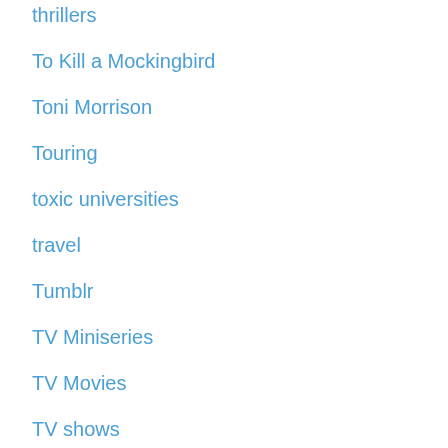thrillers
To Kill a Mockingbird
Toni Morrison
Touring
toxic universities
travel
Tumblr
TV Miniseries
TV Movies
TV shows
Twitter
Uncategorized
Vampires
Winston Churchill
Writer's block
writers
Writers Conferences
Writing